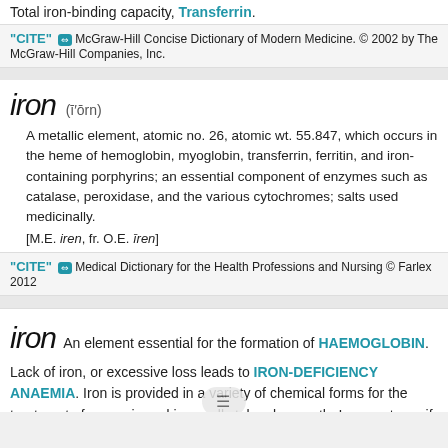Total iron-binding capacity, Transferrin.
"CITE" ⇔  McGraw-Hill Concise Dictionary of Modern Medicine. © 2002 by The McGraw-Hill Companies, Inc.
iron  (ī′ōrn)
A metallic element, atomic no. 26, atomic wt. 55.847, which occurs in the heme of hemoglobin, myoglobin, transferrin, ferritin, and iron-containing porphyrins; an essential component of enzymes such as catalase, peroxidase, and the various cytochromes; salts used medicinally.
[M.E. iren, fr. O.E. īren]
"CITE" ⇔  Medical Dictionary for the Health Professions and Nursing © Farlex 2012
iron
An element essential for the formation of HAEMOGLOBIN. Lack of iron, or excessive loss leads to IRON-DEFICIENCY ANAEMIA. Iron is provided in a variety of chemical forms for the treatment of anaemia and is usually taken by mouth. In urgent... or if oral therapy fails, iron can be